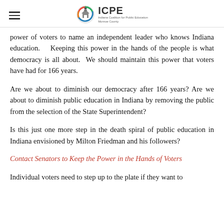ICPE — Indiana Coalition for Public Education Monroe County
power of voters to name an independent leader who knows Indiana education.   Keeping this power in the hands of the people is what democracy is all about.  We should maintain this power that voters have had for 166 years.
Are we about to diminish our democracy after 166 years? Are we about to diminish public education in Indiana by removing the public from the selection of the State Superintendent?
Is this just one more step in the death spiral of public education in Indiana envisioned by Milton Friedman and his followers?
Contact Senators to Keep the Power in the Hands of Voters
Individual voters need to step up to the plate if they want to